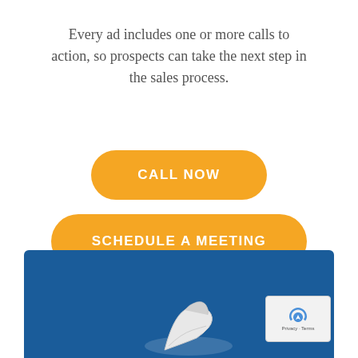Every ad includes one or more calls to action, so prospects can take the next step in the sales process.
[Figure (infographic): Orange rounded button with white text reading CALL NOW]
[Figure (infographic): Orange rounded button with white text reading SCHEDULE A MEETING]
[Figure (photo): Blue background section with a partial image of a white sneaker/shoe visible at the bottom center, and a reCAPTCHA badge in the bottom right corner]